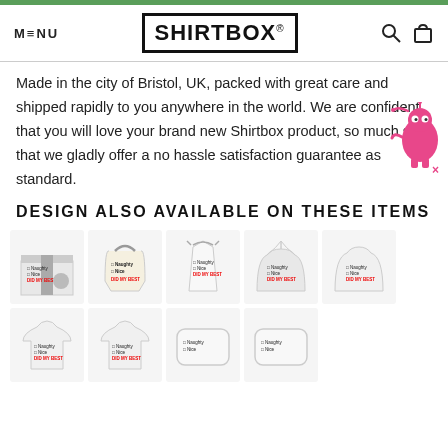MENU | SHIRTBOX® | [search icon] [cart icon]
Made in the city of Bristol, UK, packed with great care and shipped rapidly to you anywhere in the world. We are confident that you will love your brand new Shirtbox product, so much so, that we gladly offer a no hassle satisfaction guarantee as standard.
DESIGN ALSO AVAILABLE ON THESE ITEMS
[Figure (photo): Grid of product images showing various items (gift box, tote bag, apron, hoodie, sweatshirt, t-shirts, pillow) all featuring the 'Naughty / Nice / Did My Best' checklist design]